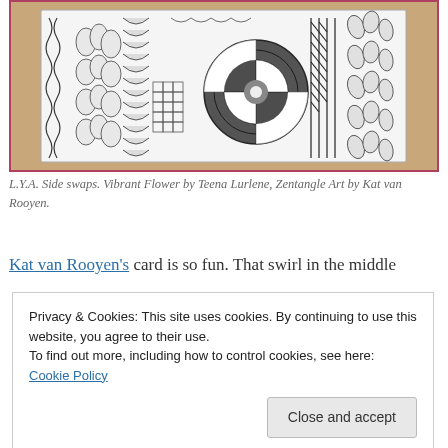[Figure (photo): A photograph of a hand-drawn Zentangle art card on a wooden surface. The card features intricate black-and-white patterns including braided borders, floral/leaf motifs, a checkerboard spiral circle in the center, grid patterns, and detailed organic textures.]
L.Y.A. Side swaps. Vibrant Flower by Teena Lurlene, Zentangle Art by Kat van Rooyen.
Kat van Rooyen's card is so fun. That swirl in the middle
Privacy & Cookies: This site uses cookies. By continuing to use this website, you agree to their use.
To find out more, including how to control cookies, see here: Cookie Policy